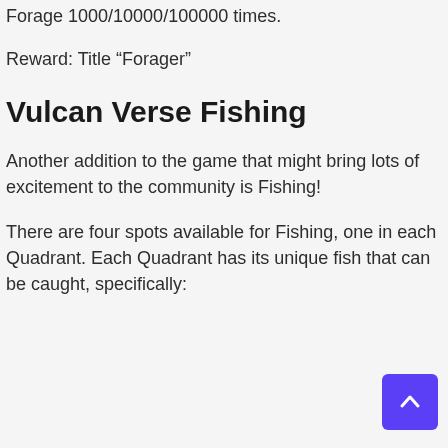Forage 1000/10000/100000 times.
Reward: Title “Forager”
Vulcan Verse Fishing
Another addition to the game that might bring lots of excitement to the community is Fishing!
There are four spots available for Fishing, one in each Quadrant. Each Quadrant has its unique fish that can be caught, specifically: